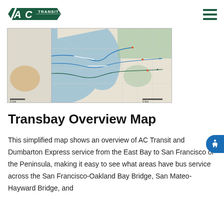AC Transit logo and navigation menu
[Figure (map): Transbay Overview Map showing AC Transit and Dumbarton Express routes across the San Francisco Bay Area, including East Bay, San Francisco, and the Peninsula]
Transbay Overview Map
This simplified map shows an overview of AC Transit and Dumbarton Express service from the East Bay to San Francisco or the Peninsula, making it easy to see what areas have bus service across the San Francisco-Oakland Bay Bridge, San Mateo-Hayward Bridge, and